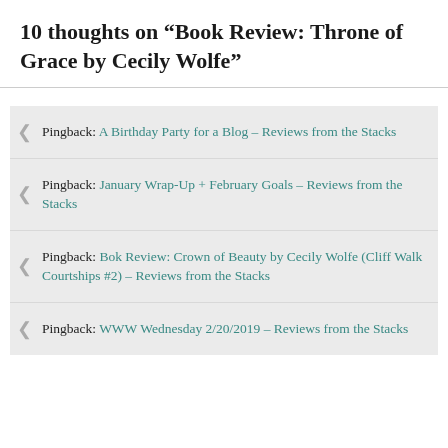10 thoughts on “Book Review: Throne of Grace by Cecily Wolfe”
Pingback: A Birthday Party for a Blog – Reviews from the Stacks
Pingback: January Wrap-Up + February Goals – Reviews from the Stacks
Pingback: Bok Review: Crown of Beauty by Cecily Wolfe (Cliff Walk Courtships #2) – Reviews from the Stacks
Pingback: WWW Wednesday 2/20/2019 – Reviews from the Stacks